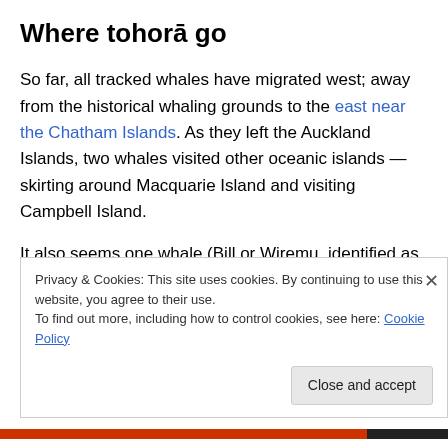Where tohorā go
So far, all tracked whales have migrated west; away from the historical whaling grounds to the east near the Chatham Islands. As they left the Auckland Islands, two whales visited other oceanic islands — skirting around Macquarie Island and visiting Campbell Island.
It also seems one whale (Bill or Wiremu, identified as male using genetic analysis of his skin sample) may have
Privacy & Cookies: This site uses cookies. By continuing to use this website, you agree to their use.
To find out more, including how to control cookies, see here: Cookie Policy